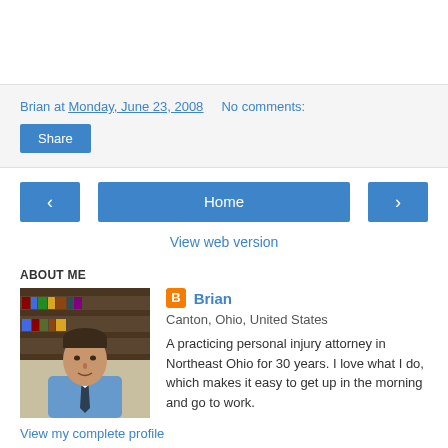Brian at Monday, June 23, 2008    No comments:
Share
‹  Home  ›
View web version
ABOUT ME
[Figure (photo): Photo of Brian, a man in a blue shirt and tie, with bookshelves in the background]
Brian
Canton, Ohio, United States
A practicing personal injury attorney in Northeast Ohio for 30 years. I love what I do, which makes it easy to get up in the morning and go to work.
View my complete profile